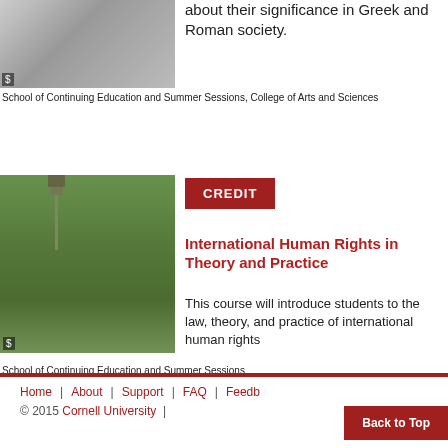[Figure (photo): Close-up photo of hands/fabric with a dollar sign watermark overlay]
about their significance in Greek and Roman society.
School of Continuing Education and Summer Sessions, College of Arts and Sciences
[Figure (photo): Photo of Cornell University campus with clock tower and students walking]
CREDIT
International Human Rights in Theory and Practice
This course will introduce students to the law, theory, and practice of international human rights
School of Continuing Education and Summer Sessions
1 2 3 4 5 6 7 8 9 next › last »
Home | About | Support | FAQ | Feedback | Back to Top | © 2015 Cornell University